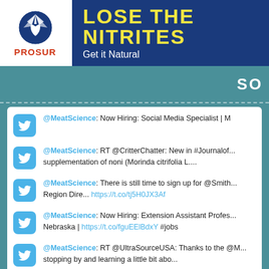[Figure (logo): Prosur logo with blue circle/star design and red PROSUR text]
LOSE THE NITRITES
Get it Natural
SO
@MeatScience: Now Hiring: Social Media Specialist | M
@MeatScience: RT @CritterChatter: New in #Journalof... supplementation of noni (Morinda citrifolia L....
@MeatScience: There is still time to sign up for @Smith... Region Dire... https://t.co/tj5H0JX3Af
@MeatScience: Now Hiring: Extension Assistant Profes... Nebraska | https://t.co/fguEElBdxY #jobs
@MeatScience: RT @UltraSourceUSA: Thanks to the @M... stopping by and learning a little bit abo...